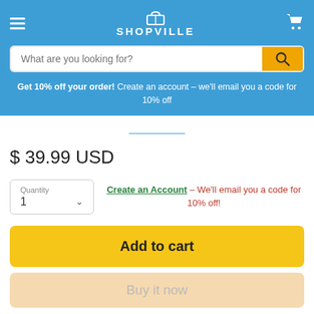[Figure (logo): Shopville website header with hamburger menu, cart icon, shopping cart logo, brand name SHOPVILLE, search bar with orange search button]
Get 10% off your order! Create an account – we'll email you a code for 10% off
$ 39.99 USD
Create an Account - We'll email you a code for 10% off!
Add to cart
Buy it now